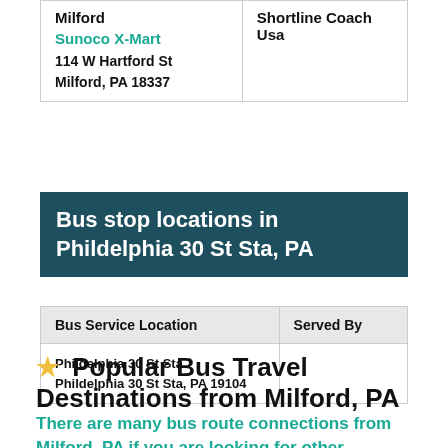| Bus Service Location | Served By |
| --- | --- |
| Milford
Sunoco X-Mart
114 W Hartford St
Milford, PA 18337 | Shortline Coach Usa |
Bus stop locations in Phildelphia 30 St Sta, PA
| Bus Service Location | Served By |
| --- | --- |
| Phildelphia 30 St Sta
Phildelphia 30 St Sta, PA 19104 |  |
★ Popular Bus Travel Destinations from Milford, PA
There are many bus route connections from Milford, PA if you are looking for other adventures